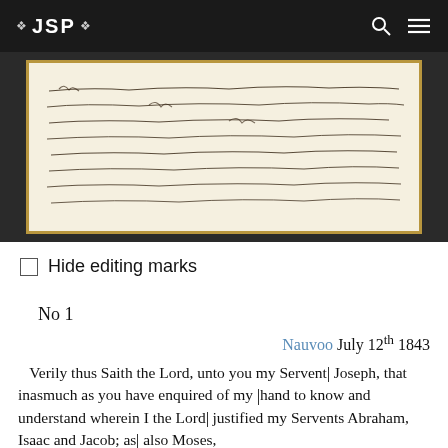❖ JSP ❖
[Figure (photo): Photograph of a handwritten manuscript document on aged paper with a gold/brown border, showing cursive handwriting in ink.]
☐ Hide editing marks
No 1
Nauvoo July 12th 1843
Verily thus Saith the Lord, unto you my Servent Joseph, that inasmuch as you have enquired of my hand to know and understand wherein I the Lord justified my Servents Abraham, Isaac and Jacob; as also Moses, David and Solomon;